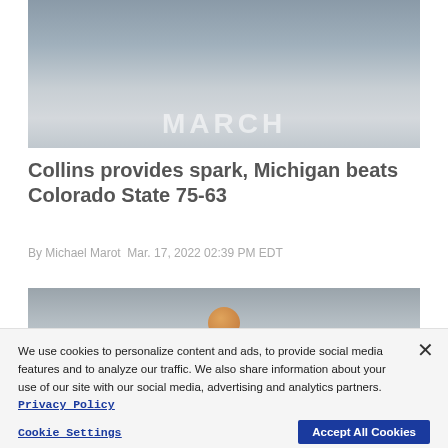[Figure (photo): Basketball action photo showing players in March Madness NCAA tournament game, with 'MARCH' text visible in background]
Collins provides spark, Michigan beats Colorado State 75-63
By Michael Marot Mar. 17, 2022 02:39 PM EDT
[Figure (photo): Partial photo of basketball game, partially obscured by cookie banner]
We use cookies to personalize content and ads, to provide social media features and to analyze our traffic. We also share information about your use of our site with our social media, advertising and analytics partners. Privacy Policy